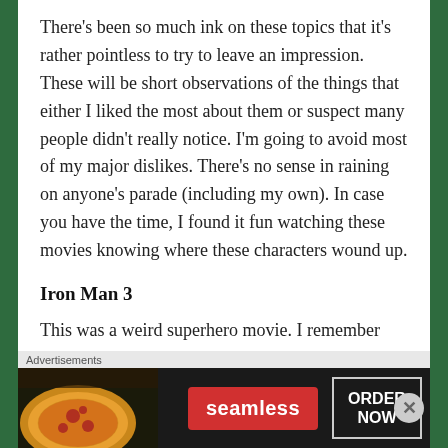There's been so much ink on these topics that it's rather pointless to try to leave an impression. These will be short observations of the things that either I liked the most about them or suspect many people didn't really notice. I'm going to avoid most of my major dislikes. There's no sense in raining on anyone's parade (including my own). In case you have the time, I found it fun watching these movies knowing where these characters wound up.
Iron Man 3
This was a weird superhero movie. I remember reading an article stating that Tony was in the Iron
[Figure (screenshot): Advertisement banner for Seamless food delivery service featuring pizza image on left, Seamless red logo button in center, and ORDER NOW button on right, on dark background. Labeled 'Advertisements' above.]